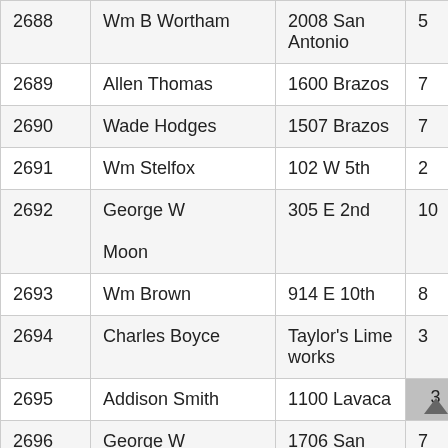| ID | Name | Address | Ward | ... |
| --- | --- | --- | --- | --- |
| 2688 | Wm B Wortham | 2008 San Antonio | 5 | W |
| 2689 | Allen Thomas | 1600 Brazos | 7 | C |
| 2690 | Wade Hodges | 1507 Brazos | 7 | C |
| 2691 | Wm Stelfox | 102 W 5th | 2 | W |
| 2692 | George W Moon | 305 E 2nd | 10 | C |
| 2693 | Wm Brown | 914 E 10th | 8 | C |
| 2694 | Charles Boyce | Taylor's Lime works | 3 | W |
| 2695 | Addison Smith | 1100 Lavaca | 3 | W |
| 2696 | George W | 1706 San Jacinto | 7 | W |